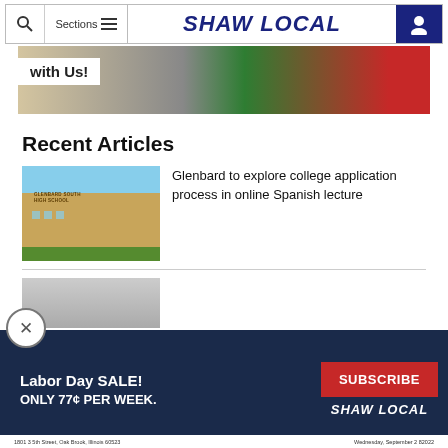Shaw Local — navigation bar with search, sections, logo, and user icon
[Figure (photo): Banner image with text overlay 'with Us!' on white background, green clothing and red accent on right side]
Recent Articles
[Figure (photo): Thumbnail photo of Glenbard South High School brick building exterior with blue sky]
Glenbard to explore college application process in online Spanish lecture
[Figure (photo): Partial thumbnail of second article, mostly obscured by popup overlay]
[Figure (infographic): Popup subscription banner: Labor Day SALE! ONLY 77¢ PER WEEK. SUBSCRIBE button. Shaw Local logo. Close (X) button in top left.]
1801 3 5th Street, Oak Brook, Illinois 60523    Wednesday, September 2 82022